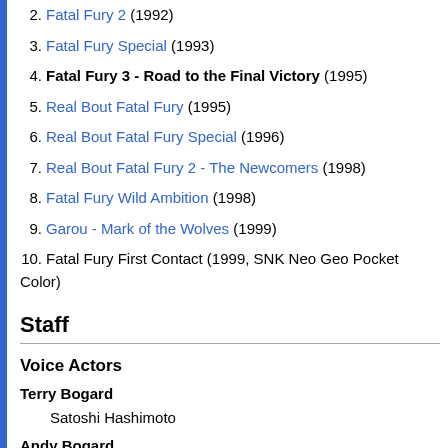2. Fatal Fury 2 (1992)
3. Fatal Fury Special (1993)
4. Fatal Fury 3 - Road to the Final Victory (1995)
5. Real Bout Fatal Fury (1995)
6. Real Bout Fatal Fury Special (1996)
7. Real Bout Fatal Fury 2 - The Newcomers (1998)
8. Fatal Fury Wild Ambition (1998)
9. Garou - Mark of the Wolves (1999)
10. Fatal Fury First Contact (1999, SNK Neo Geo Pocket Color)
Staff
Voice Actors
Terry Bogard
Satoshi Hashimoto
Andy Bogard
Keiichi Nanba
Joe Higashi
Nobuyuki Hiyama
Mai Shiranui
Akoya Sogi
Geese Howard
Kong Kuwata